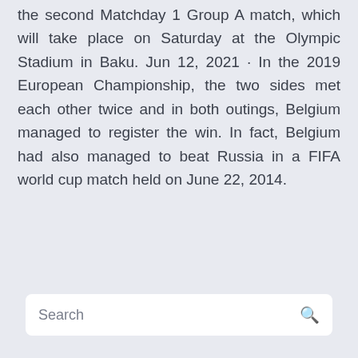the second Matchday 1 Group A match, which will take place on Saturday at the Olympic Stadium in Baku. Jun 12, 2021 · In the 2019 European Championship, the two sides met each other twice and in both outings, Belgium managed to register the win. In fact, Belgium had also managed to beat Russia in a FIFA world cup match held on June 22, 2014.
Search